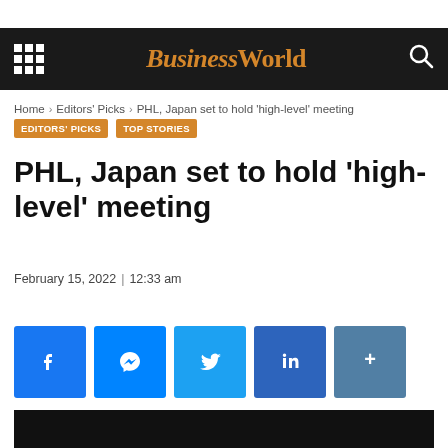BusinessWorld
Home › Editors' Picks › PHL, Japan set to hold 'high-level' meeting
EDITORS' PICKS
TOP STORIES
PHL, Japan set to hold 'high-level' meeting
February 15, 2022 | 12:33 am
[Figure (other): Social media sharing buttons: Facebook, Messenger, Twitter, LinkedIn, More]
[Figure (photo): Dark image at bottom of article]